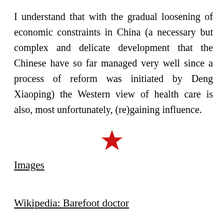I understand that with the gradual loosening of economic constraints in China (a necessary but complex and delicate development that the Chinese have so far managed very well since a process of reform was initiated by Deng Xiaoping) the Western view of health care is also, most unfortunately, (re)gaining influence.
[Figure (other): A red five-pointed star used as a section divider]
Images
Wikipedia: Barefoot doctor